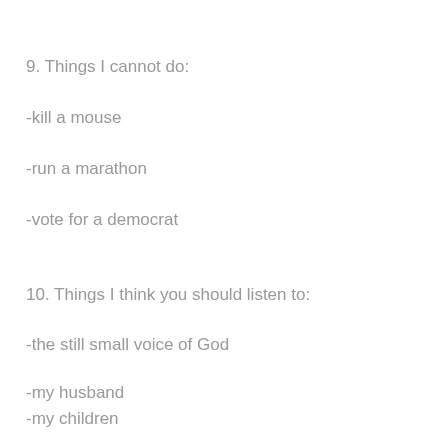9. Things I cannot do:
-kill a mouse
-run a marathon
-vote for a democrat
10. Things I think you should listen to:
-the still small voice of God
-my husband
-my children
11. Things you should not listen to: